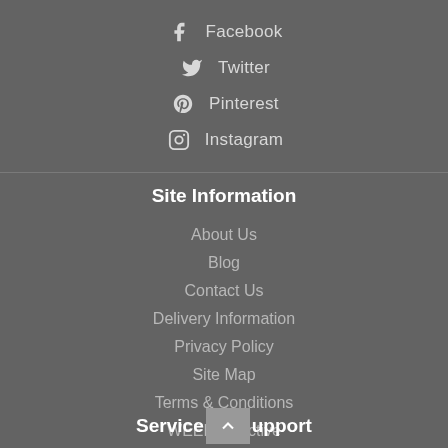Facebook
Twitter
Pinterest
Instagram
Site Information
About Us
Blog
Contact Us
Delivery Information
Privacy Policy
Site Map
Terms & Conditions
WEEE Directive
Service & Support